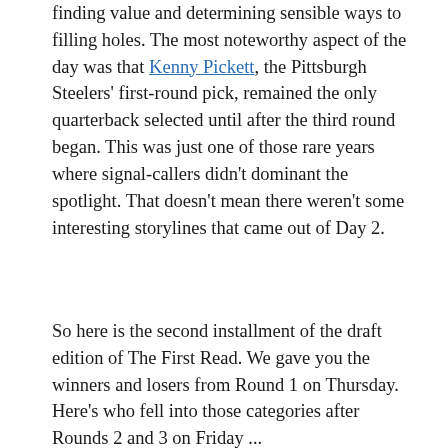finding value and determining sensible ways to filling holes. The most noteworthy aspect of the day was that Kenny Pickett, the Pittsburgh Steelers' first-round pick, remained the only quarterback selected until after the third round began. This was just one of those rare years where signal-callers didn't dominant the spotlight. That doesn't mean there weren't some interesting storylines that came out of Day 2.
So here is the second installment of the draft edition of The First Read. We gave you the winners and losers from Round 1 on Thursday. Here's who fell into those categories after Rounds 2 and 3 on Friday ...
WINNERS
[Figure (other): Social sharing icons: Facebook, Twitter, Email, Link]